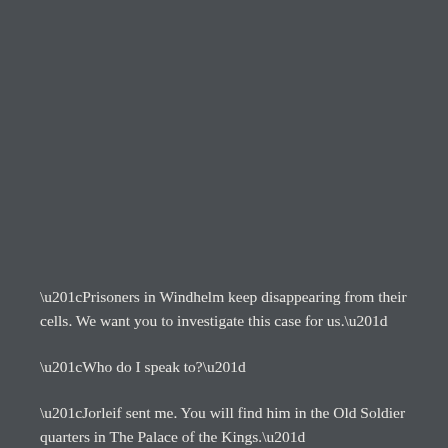“Prisoners in Windhelm keep disappearing from their cells. We want you to investigate this case for us.”
“Who do I speak to?”
“Jorleif sent me. You will find him in the Old Soldier quarters in The Palace of the Kings.”
“I am glad he was not exiled. He was one of the first to remove his…